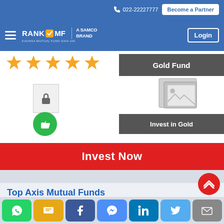022-22227777  Become a Partner
[Figure (logo): RankMF - A Samco Brand logo with hamburger menu and Login button on blue header bar]
[Figure (screenshot): 5 gold stars rating, lock icon placeholder, image placeholder, Gold Fund label, Invest in Gold dark overlay label, thumbs up green circle icon]
Invest Now
Top Axis Mutual Funds
[Figure (infographic): Social sharing buttons: WhatsApp, SMS, Facebook, Messenger, LinkedIn, Twitter, Email. Red scroll-to-top FAB button.]